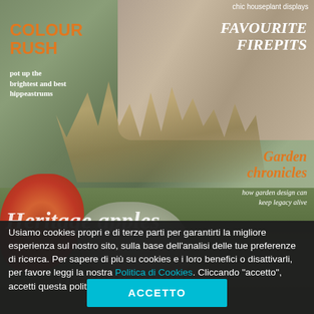[Figure (photo): Magazine cover of a garden publication showing a stone wall cottage with ornamental grasses, silver-leaved plants, and colorful autumn foliage. Text overlays include 'COLOUR RUSH', 'pot up the brightest and best hippeastrums', 'FAVOURITE FIREPITS', 'Garden chronicles how garden design can keep legacy alive', and 'Heritage apples' partially visible.]
Usiamo cookies propri e di terze parti per garantirti la migliore esperienza sul nostro sito, sulla base dell'analisi delle tue preferenze di ricerca. Per sapere di più su cookies e i loro benefici o disattivarli, per favore leggi la nostra Politica di Cookies. Cliccando "accetto", accetti questa politica.
ACCETTO